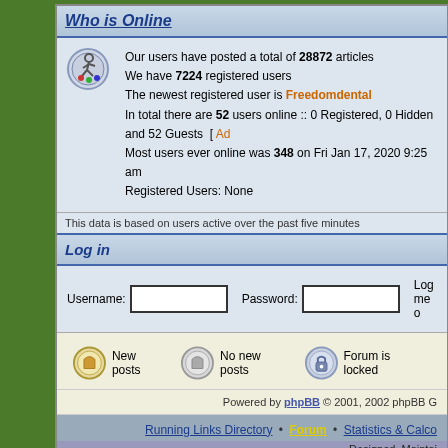Who is Online
Our users have posted a total of 28872 articles
We have 7224 registered users
The newest registered user is Freedomdental
In total there are 52 users online :: 0 Registered, 0 Hidden and 52 Guests  [ Ad...
Most users ever online was 348 on Fri Jan 17, 2020 9:25 am
Registered Users: None
This data is based on users active over the past five minutes
Log in
Username:   Password:   Log me o
New posts
No new posts
Forum is locked
Powered by phpBB © 2001, 2002 phpBB G
Running Links Directory • Forum • Statistics & Calco
Designed, Maintai
© 1999-20